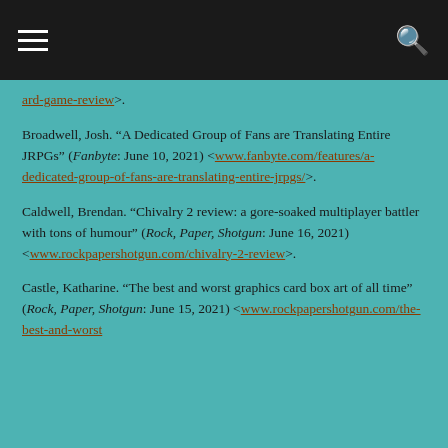[hamburger menu icon] [search icon]
ard-game-review>.
Broadwell, Josh. “A Dedicated Group of Fans are Translating Entire JRPGs” (Fanbyte: June 10, 2021) <www.fanbyte.com/features/a-dedicated-group-of-fans-are-translating-entire-jrpgs/>.
Caldwell, Brendan. “Chivalry 2 review: a gore-soaked multiplayer battler with tons of humour” (Rock, Paper, Shotgun: June 16, 2021) <www.rockpapershotgun.com/chivalry-2-review>.
Castle, Katharine. “The best and worst graphics card box art of all time” (Rock, Paper, Shotgun: June 15, 2021) <www.rockpapershotgun.com/the-best-and-worst...